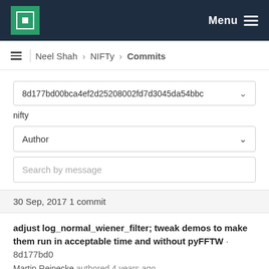MPCDF Menu
Neel Shah > NIFTy > Commits
8d177bd00bca4ef2d25208002fd7d3045da54bbc
nifty
Author
Search by message
30 Sep, 2017 1 commit
adjust log_normal_wiener_filter; tweak demos to make them run in acceptable time and without pyFFTW · 8d177bd0
Martin Reinecke authored 4 years ago
29 Sep, 2017 2 commits